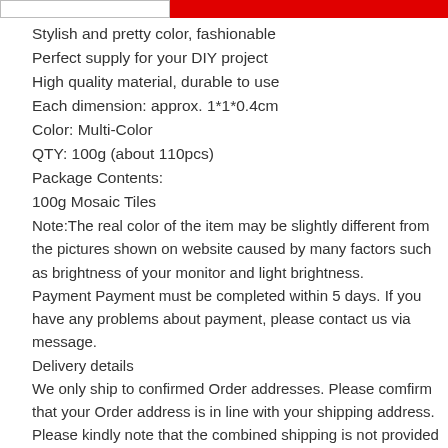Stylish and pretty color, fashionable
Perfect supply for your DIY project
High quality material, durable to use
Each dimension: approx. 1*1*0.4cm
Color: Multi-Color
QTY: 100g (about 110pcs)
Package Contents:
100g Mosaic Tiles
Note:The real color of the item may be slightly different from the pictures shown on website caused by many factors such as brightness of your monitor and light brightness.
Payment Payment must be completed within 5 days. If you have any problems about payment, please contact us via message.
Delivery details
We only ship to confirmed Order addresses. Please comfirm that your Order address is in line with your shipping address. Please kindly note that the combined shipping is not provided because the shipping fee is calculated by weight. Also, the each additional item means